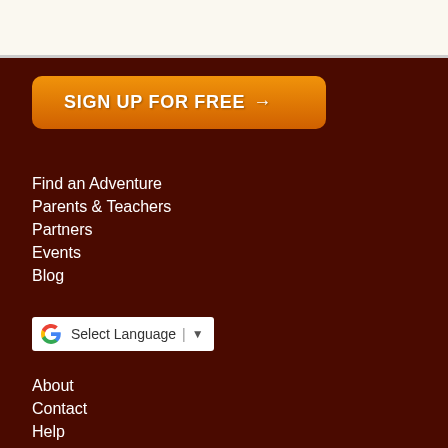[Figure (screenshot): White/cream top section of webpage]
[Figure (illustration): Orange rounded button with text SIGN UP FOR FREE and right arrow]
Find an Adventure
Parents & Teachers
Partners
Events
Blog
[Figure (screenshot): Google Translate widget showing Select Language with dropdown arrow]
About
Contact
Help
Partner Dashboard
Prescriber Dashboard
Signup For Newsletter